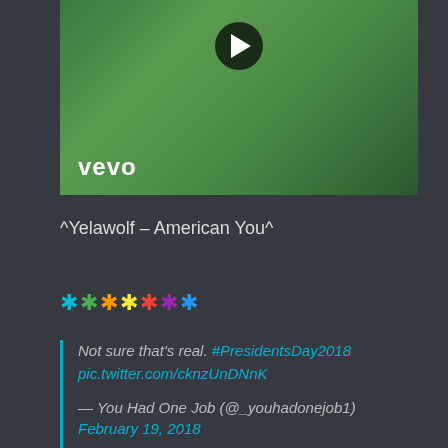[Figure (screenshot): Vevo music video thumbnail showing a tattooed musician with a microphone against a green field background, with a play button overlay and Vevo logo]
^Yelawolf – American You^
******* (colored stars: cyan, green, orange, yellow, red, purple, blue)
Not sure that's real. #PresidentsDay2018 pic.twitter.com/cknzUnDNnK

— You Had One Job (@_youhadonejob1)
February 19, 2018